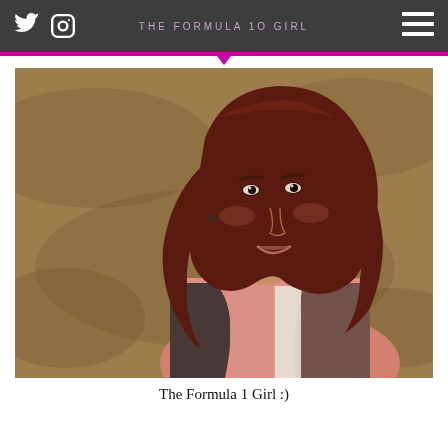THE FORMULA 1O GIRL
[Figure (photo): A young woman with long dark auburn/red wavy hair, wearing a pink and black patterned jacket, photographed outdoors with a grassy background, looking back over her shoulder and smiling.]
The Formula 1 Girl :)